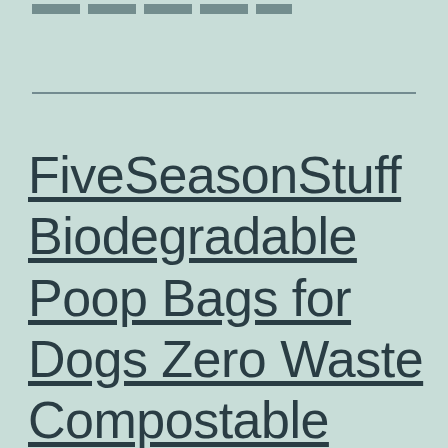FiveSeasonStuff Biodegradable Poop Bags for Dogs Zero Waste Compostable Dog Waste Bags Highest Rated ASTM D6400 Very